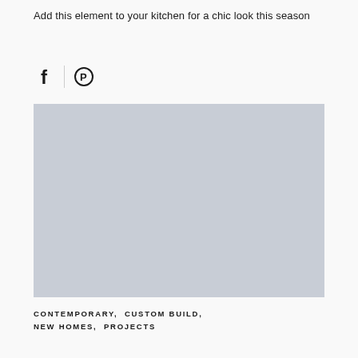Add this element to your kitchen for a chic look this season
[Figure (infographic): Social share icons: Facebook (f) and Pinterest (circle with P inside), separated by a vertical divider line]
[Figure (photo): Light grey placeholder image block representing a kitchen photo]
CONTEMPORARY, CUSTOM BUILD, NEW HOMES, PROJECTS